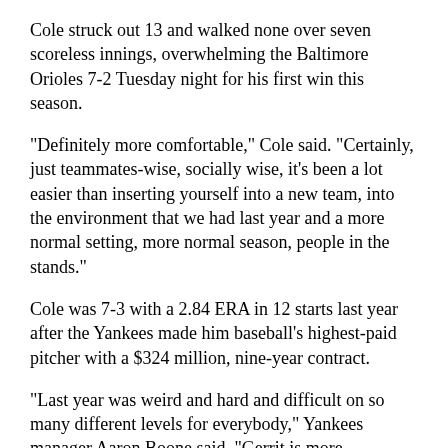Cole struck out 13 and walked none over seven scoreless innings, overwhelming the Baltimore Orioles 7-2 Tuesday night for his first win this season.
"Definitely more comfortable," Cole said. "Certainly, just teammates-wise, socially wise, it's been a lot easier than inserting yourself into a new team, into the environment that we had last year and a more normal setting, more normal season, people in the stands."
Cole was 7-3 with a 2.84 ERA in 12 starts last year after the Yankees made him baseball's highest-paid pitcher with a $324 million, nine-year contract.
"Last year was weird and hard and difficult on so many different levels for everybody," Yankees manager Aaron Boone said. "Gerrit is more comfortable now knowing everyone in the organization, knowing his pitching coach and where to go for information and his teammates."
Cole (1-0) allowed four hits, three of them singles. J ay Bruce backed him with his first Yankees home run, a solo shot in the second off Dean Kremer (0-1) that was a Yankee Stadium special of 354 feet into the right field stands and...